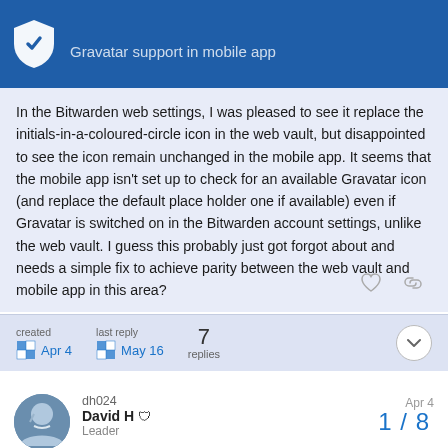Gravatar support in mobile app
In the Bitwarden web settings, I was pleased to see it replace the initials-in-a-coloured-circle icon in the web vault, but disappointed to see the icon remain unchanged in the mobile app. It seems that the mobile app isn't set up to check for an available Gravatar icon (and replace the default place holder one if available) even if Gravatar is switched on in the Bitwarden account settings, unlike the web vault. I guess this probably just got forgot about and needs a simple fix to achieve parity between the web vault and mobile app in this area?
created Apr 4   last reply May 16   7 replies
dh024  David H  Leader   Apr 4   1 / 8